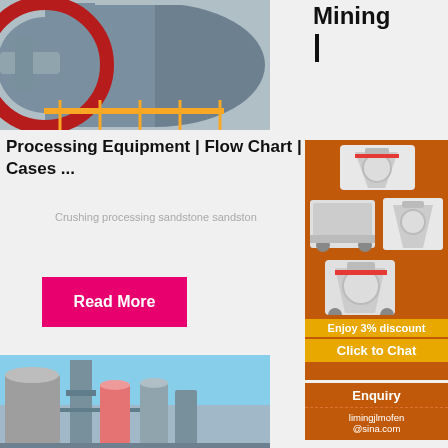[Figure (photo): Industrial ball mill or rotary drum machine in a mining facility]
Processing Equipment | Flow Chart | Cases ...
Crushing processing sandstone sandston
Read More
[Figure (photo): Industrial cement or processing plant with silos and towers]
Mining
[Figure (photo): Advertisement showing three mining machines - crusher, mobile crusher, and cone crusher]
Enjoy 3% discount
Click to Chat
Enquiry
limingjlmofen@sina.com
Steps